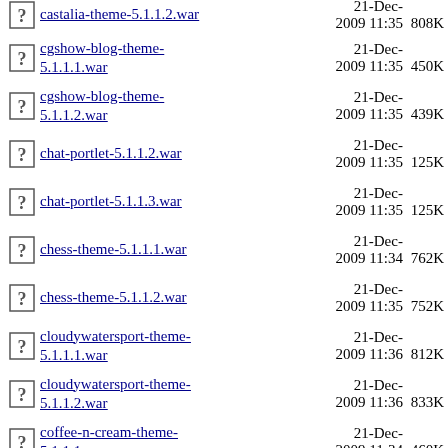castalia-theme-5.1.1.2.war  21-Dec-2009 11:35  808K
cgshow-blog-theme-5.1.1.1.war  21-Dec-2009 11:35  450K
cgshow-blog-theme-5.1.1.2.war  21-Dec-2009 11:35  439K
chat-portlet-5.1.1.2.war  21-Dec-2009 11:35  125K
chat-portlet-5.1.1.3.war  21-Dec-2009 11:35  125K
chess-theme-5.1.1.1.war  21-Dec-2009 11:34  762K
chess-theme-5.1.1.2.war  21-Dec-2009 11:35  752K
cloudywatersport-theme-5.1.1.1.war  21-Dec-2009 11:36  812K
cloudywatersport-theme-5.1.1.2.war  21-Dec-2009 11:36  833K
coffee-n-cream-theme-5.1.1.1.war  21-Dec-2009 11:34  460K
coffee-n-cream-theme-5.1.1.2.war  21-Dec-2009 11:34  451K
colorful-net-theme-5.1.1.1.war  21-Dec-2009  645K